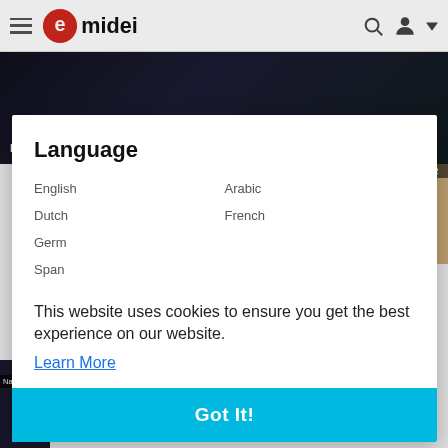emidei navigation bar with hamburger menu, logo, search and account icons
[Figure (screenshot): Hero image showing dark video thumbnail with text 'I DONT KNOW WHAT IS GOING TO HAPPEN Pep ...' overlaid at bottom]
Language
English
Arabic
Dutch
French
Germ
Span
This website uses cookies to ensure you get the best experience on our website.
Learn More
Got It!